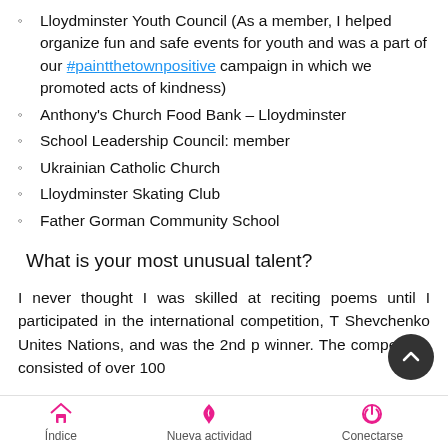Lloydminster Youth Council (As a member, I helped organize fun and safe events for youth and was a part of our #paintthetownpositive campaign in which we promoted acts of kindness)
Anthony's Church Food Bank – Lloydminster
School Leadership Council: member
Ukrainian Catholic Church
Lloydminster Skating Club
Father Gorman Community School
What is your most unusual talent?
I never thought I was skilled at reciting poems until I participated in the international competition, T Shevchenko Unites Nations, and was the 2nd p winner. The competition consisted of over 100
Índice   Nueva actividad   Conectarse